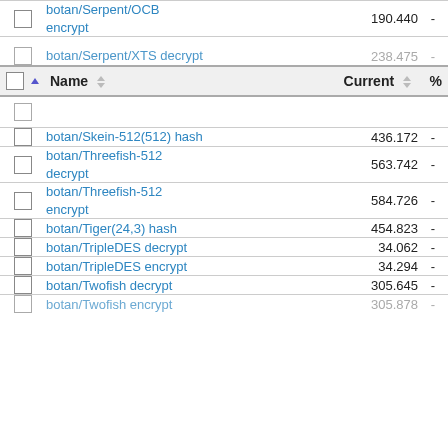|  | Name | Current | % |
| --- | --- | --- | --- |
| ☐ | botan/Serpent/OCB encrypt | 190.440 | - |
| ☐ | botan/Serpent/XTS decrypt | 238.475 | - |
|  | Name | Current | % |
| ☐ | botan/Skein-512(512) hash | 436.172 | - |
| ☐ | botan/Threefish-512 decrypt | 563.742 | - |
| ☐ | botan/Threefish-512 encrypt | 584.726 | - |
| ☐ | botan/Tiger(24,3) hash | 454.823 | - |
| ☐ | botan/TripleDES decrypt | 34.062 | - |
| ☐ | botan/TripleDES encrypt | 34.294 | - |
| ☐ | botan/Twofish decrypt | 305.645 | - |
| ☐ | botan/Twofish encrypt | 305.878 | - |